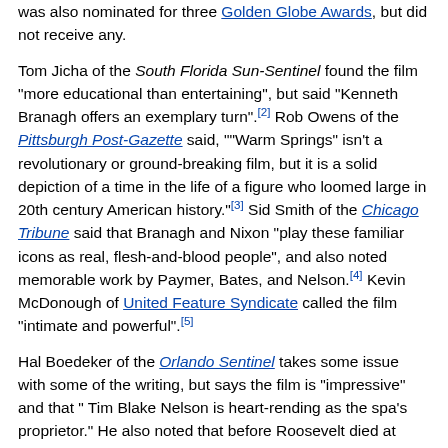was also nominated for three Golden Globe Awards, but did not receive any.
Tom Jicha of the South Florida Sun-Sentinel found the film "more educational than entertaining", but said "Kenneth Branagh offers an exemplary turn".[2] Rob Owens of the Pittsburgh Post-Gazette said, ""Warm Springs" isn't a revolutionary or ground-breaking film, but it is a solid depiction of a time in the life of a figure who loomed large in 20th century American history."[3] Sid Smith of the Chicago Tribune said that Branagh and Nixon "play these familiar icons as real, flesh-and-blood people", and also noted memorable work by Paymer, Bates, and Nelson.[4] Kevin McDonough of United Feature Syndicate called the film "intimate and powerful".[5]
Hal Boedeker of the Orlando Sentinel takes some issue with some of the writing, but says the film is "impressive" and that " Tim Blake Nelson is heart-rending as the spa's proprietor." He also noted that before Roosevelt died at Warm Springs, he listed the rehabilitation center as beneficiary of his $562,000 life insurance policy.[6]
See also